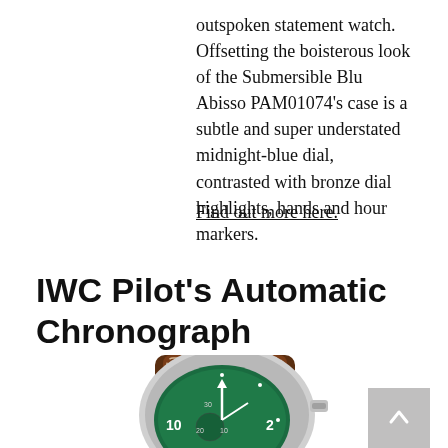outspoken statement watch. Offsetting the boisterous look of the Submersible Blu Abisso PAM01074's case is a subtle and super understated midnight-blue dial, contrasted with bronze dial highlights, hands and hour markers.
Find out more here.
IWC Pilot's Automatic Chronograph
[Figure (photo): IWC Pilot's Automatic Chronograph watch with green dial, silver case, and brown leather strap, partially visible from top]